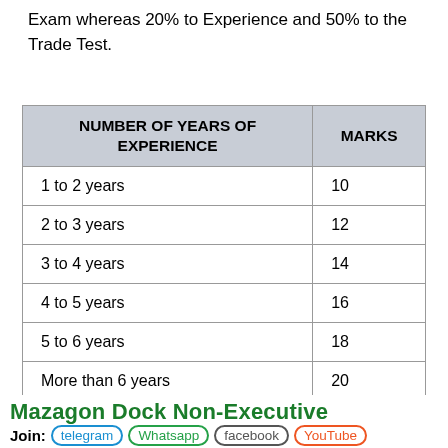Exam whereas 20% to Experience and 50% to the Trade Test.
| NUMBER OF YEARS OF EXPERIENCE | MARKS |
| --- | --- |
| 1 to 2 years | 10 |
| 2 to 3 years | 12 |
| 3 to 4 years | 14 |
| 4 to 5 years | 16 |
| 5 to 6 years | 18 |
| More than 6 years | 20 |
Mazagon Dock Non-Executive
Join: telegram Whatsapp facebook YouTube